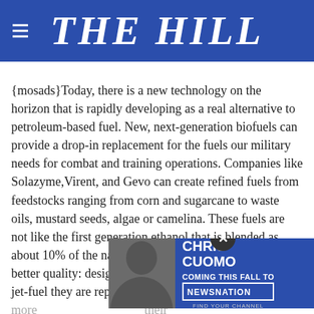THE HILL
{mosads}Today, there is a new technology on the horizon that is rapidly developing as a real alternative to petroleum-based fuel. New, next-generation biofuels can provide a drop-in replacement for the fuels our military needs for combat and training operations. Companies like Solazyme,Virent, and Gevo can create refined fuels from feedstocks ranging from corn and sugarcane to waste oils, mustard seeds, algae or camelina. These fuels are not like the first generation ethanol that is blended as about 10% of the nation's gasoline supply. They are of better quality: designed to be chemically identical to the jet-fuel they are replacing. They also be more their feeds h
[Figure (advertisement): Chris Cuomo Coming This Fall To NewsNation advertisement banner with photo of Chris Cuomo]